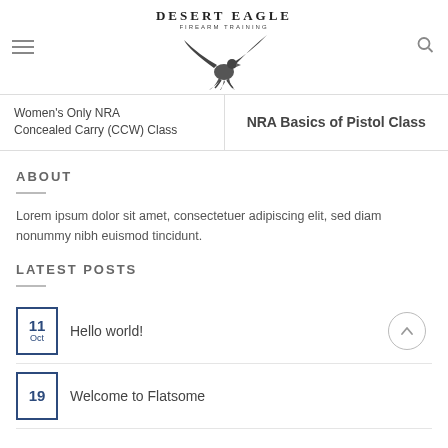Desert Eagle Firearm Training
Women's Only NRA Concealed Carry (CCW) Class
NRA Basics of Pistol Class
ABOUT
Lorem ipsum dolor sit amet, consectetuer adipiscing elit, sed diam nonummy nibh euismod tincidunt.
LATEST POSTS
11 Oct - Hello world!
19 - Welcome to Flatsome